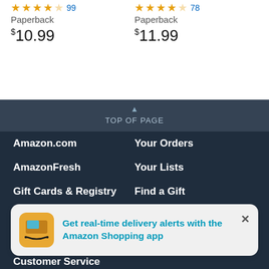★★★★☆ 99 Paperback $10.99
★★★★☆ 78 Paperback $11.99
▲ TOP OF PAGE
Amazon.com
Your Orders
AmazonFresh
Your Lists
Gift Cards & Registry
Find a Gift
Your Account
Browsing History
Sell products on Amazon
Returns
Get real-time delivery alerts with the Amazon Shopping app
Customer Service